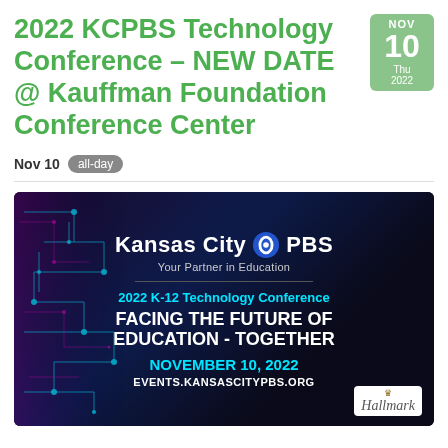2022 KCPBS Technology Conference – NEW DATE @ Kauffman Foundation Conference Center
Nov 10  all-day
[Figure (illustration): Kansas City PBS event banner with circuit board background. Shows Kansas City PBS logo with tagline 'Your Partner in Education', '2022 K-12 Technology Conference', 'FACING THE FUTURE OF EDUCATION - TOGETHER', 'NOVEMBER 10, 2022', 'EVENTS.KANSASCITYPBS.ORG', and Hallmark logo.]